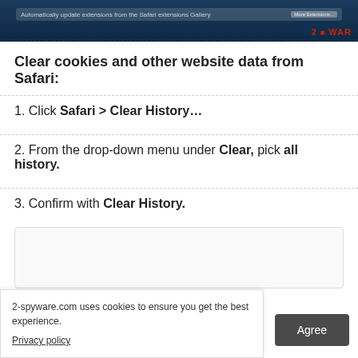[Figure (screenshot): Screenshot of a browser settings dialog with dark blue background, showing an extension or settings panel. Watermark '2 WAR' in red at bottom right.]
Clear cookies and other website data from Safari:
1. Click Safari > Clear History...
2. From the drop-down menu under Clear, pick all history.
3. Confirm with Clear History.
[Figure (screenshot): Empty content box placeholder (light grey outlined box)]
2-spyware.com uses cookies to ensure you get the best experience.
Privacy policy
Agree